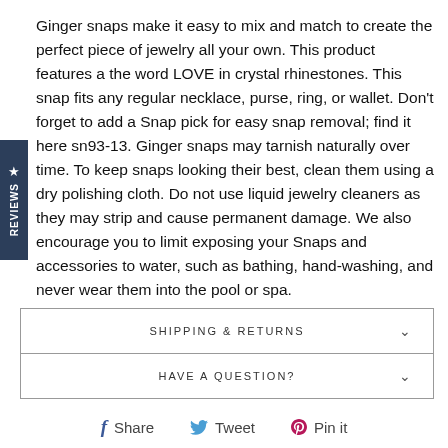Ginger snaps make it easy to mix and match to create the perfect piece of jewelry all your own. This product features a the word LOVE in crystal rhinestones. This snap fits any regular necklace, purse, ring, or wallet. Don't forget to add a Snap pick for easy snap removal; find it here sn93-13. Ginger snaps may tarnish naturally over time. To keep snaps looking their best, clean them using a dry polishing cloth. Do not use liquid jewelry cleaners as they may strip and cause permanent damage. We also encourage you to limit exposing your Snaps and accessories to water, such as bathing, hand-washing, and never wear them into the pool or spa.
SHIPPING & RETURNS
HAVE A QUESTION?
Share  Tweet  Pin it